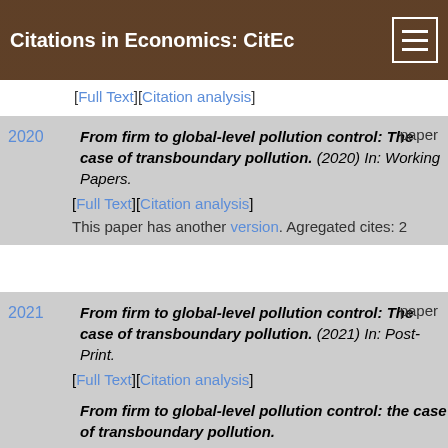Citations in Economics: CitEc
[Full Text][Citation analysis]
From firm to global-level pollution control: The case of transboundary pollution. (2020) In: Working Papers. paper [Full Text][Citation analysis] This paper has another version. Agregated cites: 2
From firm to global-level pollution control: The case of transboundary pollution. (2021) In: Post-Print. paper [Full Text][Citation analysis] This paper has another version. Agregated cites: 2
From firm to global-level pollution control: the case of transboundary pollution.